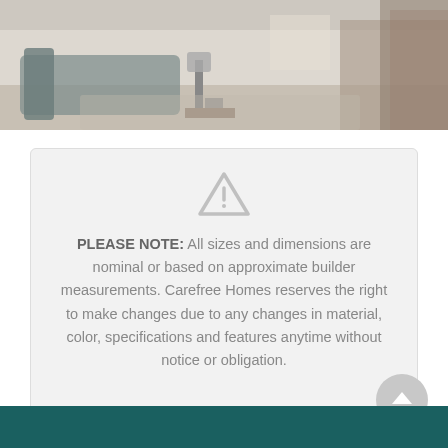[Figure (photo): Interior room photo showing a living area with sofa, lamp, and hallway in a home]
PLEASE NOTE: All sizes and dimensions are nominal or based on approximate builder measurements. Carefree Homes reserves the right to make changes due to any changes in material, color, specifications and features anytime without notice or obligation.